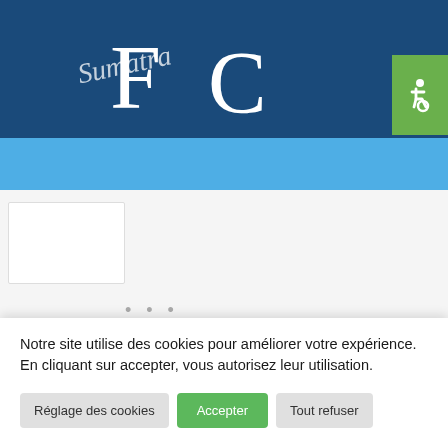[Figure (logo): Sumatra FC logo — stylized cursive Sumatra text with large F and C letters in white on dark blue background]
[Figure (illustration): Green accessibility icon button (wheelchair symbol) on top-right of header]
Notre site utilise des cookies pour améliorer votre expérience. En cliquant sur accepter, vous autorisez leur utilisation.
Réglage des cookies
Accepter
Tout refuser